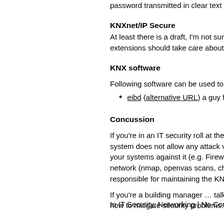password transmitted in clear text … really
KNXnet/IP Secure
At least there is a draft, I'm not sure if imple extensions should take care about the bigg
KNX software
Following software can be used to play with
eibd (alternative URL) a guy from th
Concussion
If you're in an IT security roll at the IT depa system does not allow any attack vector ag your systems against it (e.g. Firewall, netw network (nmap, openvas scans, check use responsible for maintaining the KNX netwo
If you're a building manager … talk and list how to mitigate security problems.
In IT Security, Networking | No Comments